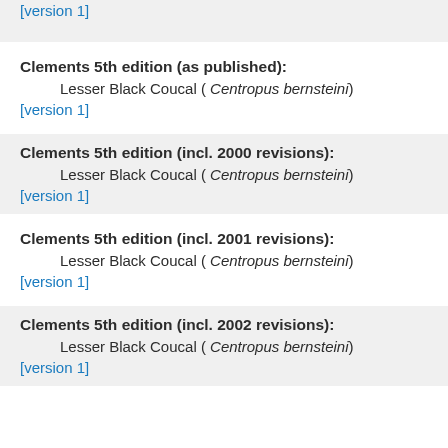[version 1]
Clements 5th edition (as published):
Lesser Black Coucal ( Centropus bernsteini)
[version 1]
Clements 5th edition (incl. 2000 revisions):
Lesser Black Coucal ( Centropus bernsteini)
[version 1]
Clements 5th edition (incl. 2001 revisions):
Lesser Black Coucal ( Centropus bernsteini)
[version 1]
Clements 5th edition (incl. 2002 revisions):
Lesser Black Coucal ( Centropus bernsteini)
[version 1]